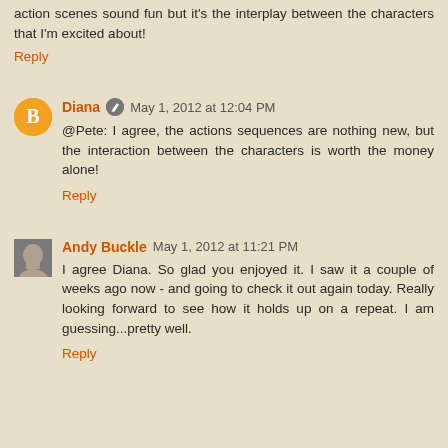action scenes sound fun but it's the interplay between the characters that I'm excited about!
Reply
Diana  May 1, 2012 at 12:04 PM
@Pete: I agree, the actions sequences are nothing new, but the interaction between the characters is worth the money alone!
Reply
Andy Buckle  May 1, 2012 at 11:21 PM
I agree Diana. So glad you enjoyed it. I saw it a couple of weeks ago now - and going to check it out again today. Really looking forward to see how it holds up on a repeat. I am guessing...pretty well.
Reply